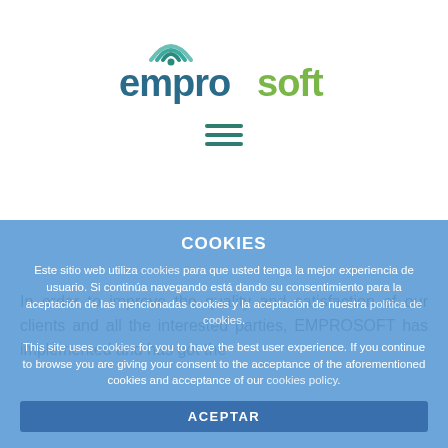[Figure (logo): Emprosoft company logo with teal/blue 'empro' text and green 'soft' text, with stylized signal wave icon above the 'e']
[Figure (other): Hamburger menu icon with three horizontal green lines]
In order to improve the quality and satisfaction of our clients and all the interested parties, EMPROSOFT has implemented and has got the
COOKIES
Este sitio web utiliza cookies para que usted tenga la mejor experiencia de usuario. Si continúa navegando está dando su consentimiento para la aceptación de las mencionadas cookies y la aceptación de nuestra política de cookies.
This site uses cookies for you to have the best user experience. If you continue to browse you are giving your consent to the acceptance of the aforementioned cookies and acceptance of our cookies policy.
ACEPTAR